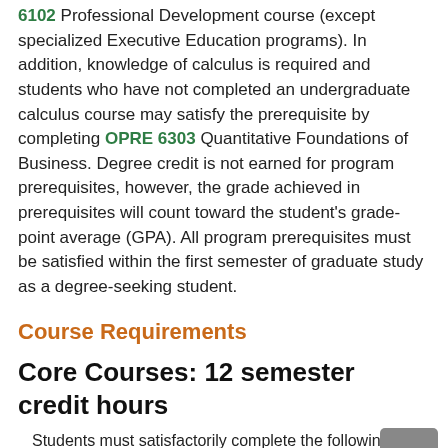6102 Professional Development course (except specialized Executive Education programs). In addition, knowledge of calculus is required and students who have not completed an undergraduate calculus course may satisfy the prerequisite by completing OPRE 6303 Quantitative Foundations of Business. Degree credit is not earned for program prerequisites, however, the grade achieved in prerequisites will count toward the student's grade-point average (GPA). All program prerequisites must be satisfied within the first semester of graduate study as a degree-seeking student.
Course Requirements
Core Courses: 12 semester credit hours
Students must satisfactorily complete the following core courses.
MIS 6334 Business Analytics with SAS...